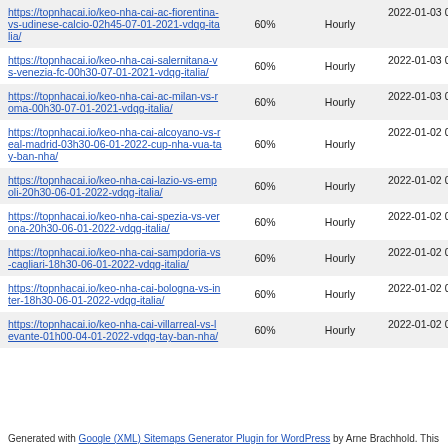| URL | Priority | Change Frequency | Last Modified |
| --- | --- | --- | --- |
| https://topnhacai.io/keo-nha-cai-ac-fiorentina-vs-udinese-calcio-02h45-07-01-2021-vdqg-italia/ | 60% | Hourly | 2022-01-03 06:34 |
| https://topnhacai.io/keo-nha-cai-salernitana-vs-venezia-fc-00h30-07-01-2021-vdqg-italia/ | 60% | Hourly | 2022-01-03 06:34 |
| https://topnhacai.io/keo-nha-cai-ac-milan-vs-roma-00h30-07-01-2021-vdqg-italia/ | 60% | Hourly | 2022-01-03 06:34 |
| https://topnhacai.io/keo-nha-cai-alcoyano-vs-real-madrid-03h30-06-01-2022-cup-nha-vua-tay-ban-nha/ | 60% | Hourly | 2022-01-02 06:56 |
| https://topnhacai.io/keo-nha-cai-lazio-vs-empoli-20h30-06-01-2022-vdqg-italia/ | 60% | Hourly | 2022-01-02 06:57 |
| https://topnhacai.io/keo-nha-cai-spezia-vs-verona-20h30-06-01-2022-vdqg-italia/ | 60% | Hourly | 2022-01-02 06:56 |
| https://topnhacai.io/keo-nha-cai-sampdoria-vs-cagliari-18h30-06-01-2022-vdqg-italia/ | 60% | Hourly | 2022-01-02 06:56 |
| https://topnhacai.io/keo-nha-cai-bologna-vs-inter-18h30-06-01-2022-vdqg-italia/ | 60% | Hourly | 2022-01-02 06:56 |
| https://topnhacai.io/keo-nha-cai-villarreal-vs-levante-01h00-04-01-2022-vdqg-tay-ban-nha/ | 60% | Hourly | 2022-01-02 06:56 |
Generated with Google (XML) Sitemaps Generator Plugin for WordPress by Arne Brachhold. This